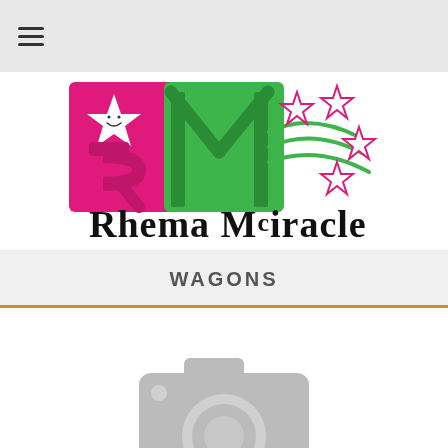☰
[Figure (logo): Rhema Miracle logo with pink R and green M letters, shooting star with smiley face, pink stars, and text 'Rhema Miracle' in playful font]
WAGONS
[Figure (other): Gray camera placeholder icon indicating a product image is not yet available]